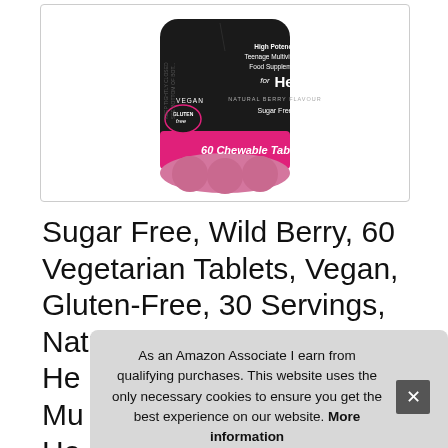[Figure (photo): Product photo of NaturesPlus Power Teen for Her chewable tablets bottle — black and pink label, 60 Chewable Tablets, High Potency Teenage Multivitamin Food Supplement, Natural Berry Flavour, Sugar Free, Vegan, Gluten Free]
Sugar Free, Wild Berry, 60 Vegetarian Tablets, Vegan, Gluten-Free, 30 Servings, NaturesPlus Power Teen for He... Mu... Ho...
As an Amazon Associate I earn from qualifying purchases. This website uses the only necessary cookies to ensure you get the best experience on our website. More information